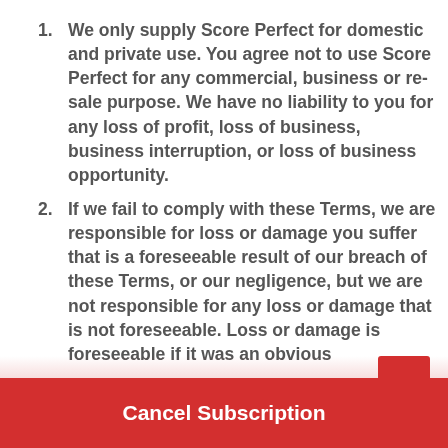We only supply Score Perfect for domestic and private use. You agree not to use Score Perfect for any commercial, business or resale purpose. We have no liability to you for any loss of profit, loss of business, business interruption, or loss of business opportunity.
If we fail to comply with these Terms, we are responsible for loss or damage you suffer that is a foreseeable result of our breach of these Terms, or our negligence, but we are not responsible for any loss or damage that is not foreseeable. Loss or damage is foreseeable if it was an obvious
Cancel Subscription